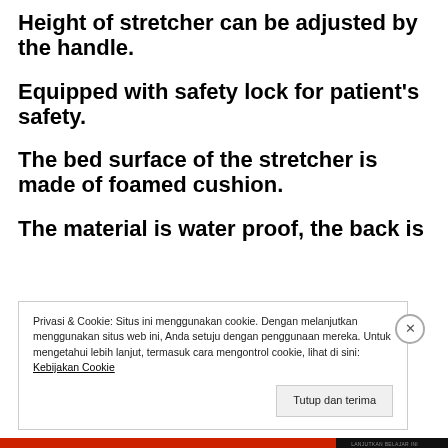Height of stretcher can be adjusted by the handle.
Equipped with safety lock for patient's safety.
The bed surface of the stretcher is made of foamed cushion.
The material is water proof, the back is
Privasi & Cookie: Situs ini menggunakan cookie. Dengan melanjutkan menggunakan situs web ini, Anda setuju dengan penggunaan mereka. Untuk mengetahui lebih lanjut, termasuk cara mengontrol cookie, lihat di sini: Kebijakan Cookie
Tutup dan terima